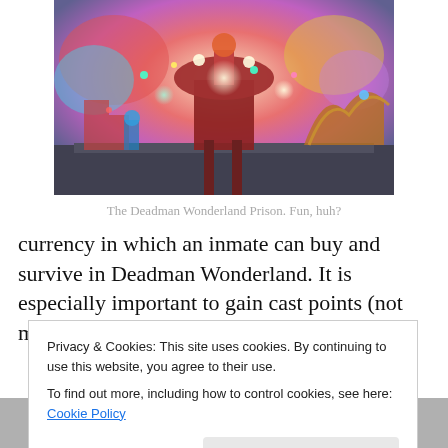[Figure (illustration): Colorful fantasy illustration of the Deadman Wonderland Prison, featuring a large amusement-park-style structure with bright lights, roller coasters, robots, and vibrant colors against a dramatic sky.]
The Deadman Wonderland Prison. Fun, huh?
currency in which an inmate can buy and survive in Deadman Wonderland. It is especially important to gain cast points (not magically nerdy, mind you) so you can buy
Privacy & Cookies: This site uses cookies. By continuing to use this website, you agree to their use.
To find out more, including how to control cookies, see here: Cookie Policy
[Figure (photo): Bottom portion of an image showing what appears to be characters from the series, partially visible at the bottom of the page.]